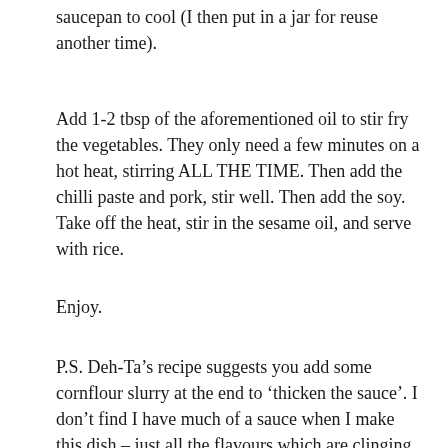saucepan to cool (I then put in a jar for reuse another time).
Add 1-2 tbsp of the aforementioned oil to stir fry the vegetables. They only need a few minutes on a hot heat, stirring ALL THE TIME. Then add the chilli paste and pork, stir well. Then add the soy. Take off the heat, stir in the sesame oil, and serve with rice.
Enjoy.
P.S. Deh-Ta’s recipe suggests you add some cornflour slurry at the end to ‘thicken the sauce’. I don’t find I have much of a sauce when I make this dish – just all the flavours which are clinging to the ingredients. There is no liquid left in the pan for the cornflour to thicken. However, if you would like to try making this more saucy, I guess you want to add more water (or maybe chicken stock) and then the cornflour slurry.